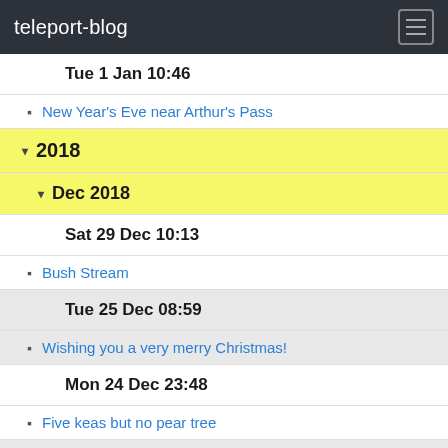teleport-blog
Tue 1 Jan 10:46
New Year's Eve near Arthur's Pass
2018
Dec 2018
Sat 29 Dec 10:13
Bush Stream
Tue 25 Dec 08:59
Wishing you a very merry Christmas!
Mon 24 Dec 23:48
Five keas but no pear tree
Sun 23 Dec 08:58
Otago Peninsula to Aoraki/Mount Cook
Fri 21 Dec 09:31
By popular demand ... Jumbo!
Wed 19 Dec 10:13